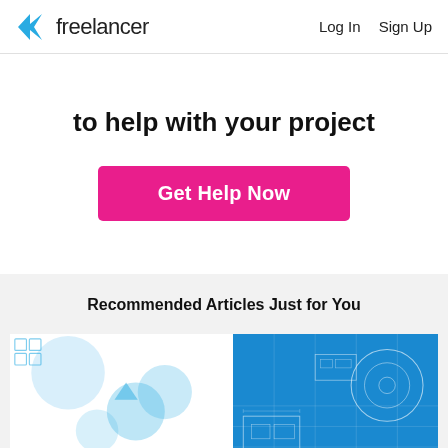freelancer  Log In  Sign Up
to help with your project
Get Help Now
Recommended Articles Just for You
[Figure (illustration): Article thumbnail image: Freelancer's Ultimate guide, split with white background and blue engineering blueprint on the right side]
Freelancer's Ultimate